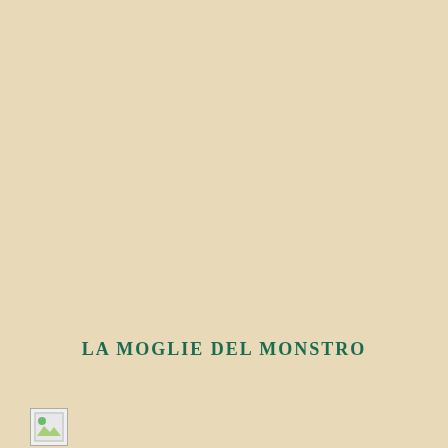LA MOGLIE DEL MONSTRO
[Figure (photo): Small image placeholder icon in bottom-left corner]